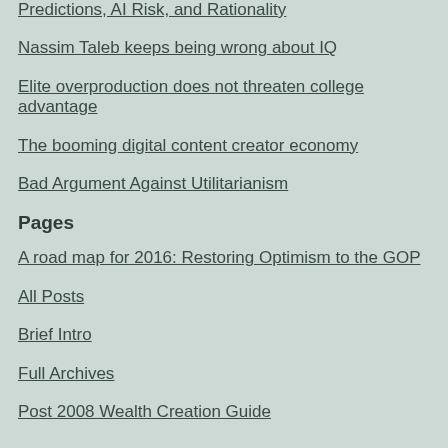Predictions, AI Risk, and Rationality
Nassim Taleb keeps being wrong about IQ
Elite overproduction does not threaten college advantage
The booming digital content creator economy
Bad Argument Against Utilitarianism
Pages
A road map for 2016: Restoring Optimism to the GOP
All Posts
Brief Intro
Full Archives
Post 2008 Wealth Creation Guide